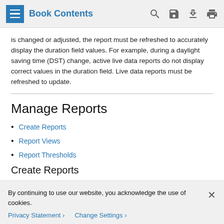Book Contents
is changed or adjusted, the report must be refreshed to accurately display the duration field values. For example, during a daylight saving time (DST) change, active live data reports do not display correct values in the duration field. Live data reports must be refreshed to update.
Manage Reports
Create Reports
Report Views
Report Thresholds
Create Reports
By continuing to use our website, you acknowledge the use of cookies.
Privacy Statement  Change Settings